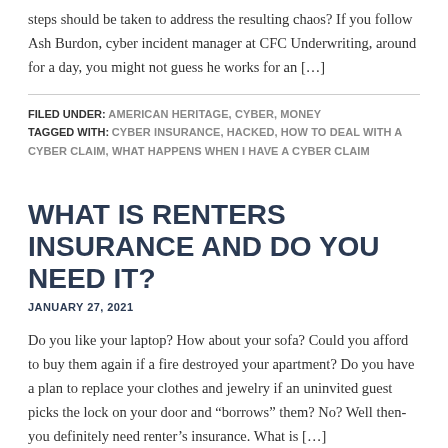steps should be taken to address the resulting chaos? If you follow Ash Burdon, cyber incident manager at CFC Underwriting, around for a day, you might not guess he works for an […]
FILED UNDER: AMERICAN HERITAGE, CYBER, MONEY
TAGGED WITH: CYBER INSURANCE, HACKED, HOW TO DEAL WITH A CYBER CLAIM, WHAT HAPPENS WHEN I HAVE A CYBER CLAIM
WHAT IS RENTERS INSURANCE AND DO YOU NEED IT?
JANUARY 27, 2021
Do you like your laptop? How about your sofa? Could you afford to buy them again if a fire destroyed your apartment? Do you have a plan to replace your clothes and jewelry if an uninvited guest picks the lock on your door and “borrows” them? No? Well then- you definitely need renter’s insurance. What is […]